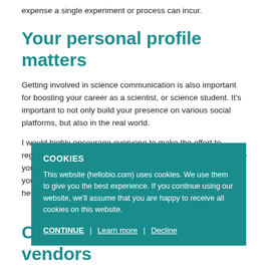expense a single experiment or process can incur.
Your personal profile matters
Getting involved in science communication is also important for boosting your career as a scientist, or science student. It’s important to not only build your presence on various social platforms, but also in the real world.
I would highly encourage everyone to make the effort to regularly attend conferences, seminars, and workshops, where you can collaborate and engage with other scientists, publicise your communications to a broader audience, while also helping you make those all-important connections to hopefully even up the impact of your work.
[Figure (screenshot): Cookie consent overlay banner with teal background. Shows 'COOKIES' heading, text about hellobio.com using cookies, and options: CONTINUE | Learn more | Decline]
Communicating with vendors